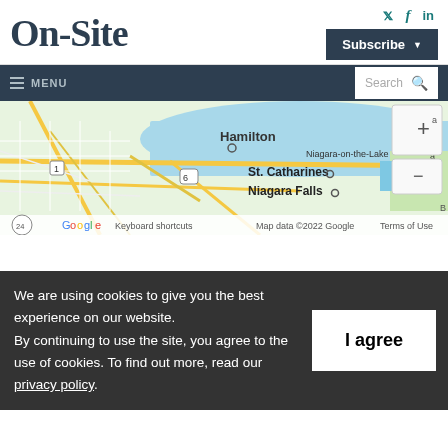On-Site
Twitter, Facebook, LinkedIn social icons; Subscribe button
≡ MENU  |  Search
[Figure (map): Google Maps view showing Hamilton, St. Catharines, Niagara Falls, and Niagara-on-the-Lake area in Ontario, Canada. Map data ©2022 Google.]
We are using cookies to give you the best experience on our website. By continuing to use the site, you agree to the use of cookies. To find out more, read our privacy policy.